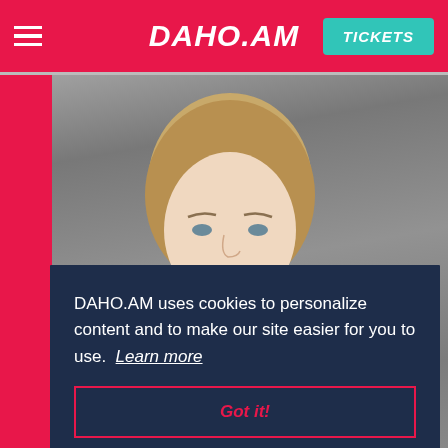DAHO.AM | TICKETS
[Figure (photo): Headshot of a woman with short blonde hair against a gray concrete background. A dark navy cookie consent overlay is shown on top of the lower portion of the photo.]
DAHO.AM uses cookies to personalize content and to make our site easier for you to use. Learn more
Got it!
Ro
Partner Manager Media Innovation